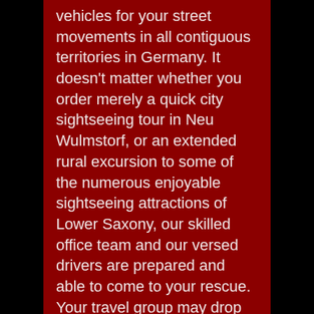vehicles for your street movements in all contiguous territories in Germany. It doesn't matter whether you order merely a quick city sightseeing tour in Neu Wulmstorf, or an extended rural excursion to some of the numerous enjoyable sightseeing attractions of Lower Saxony, our skilled office team and our versed drivers are prepared and able to come to your rescue. Your travel group may drop us a message by e-mail message at info@citytours-germany.com. Our team will then send you a thoroughly